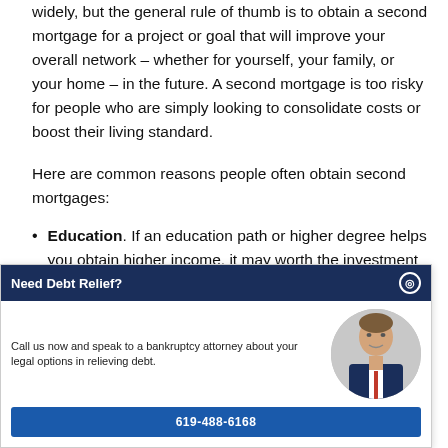Your reason for obtaining a second mortgage can vary widely, but the general rule of thumb is to obtain a second mortgage for a project or goal that will improve your overall network – whether for yourself, your family, or your home – in the future. A second mortgage is too risky for people who are simply looking to consolidate costs or boost their living standard.
Here are common reasons people often obtain second mortgages:
Education. If an education path or higher degree helps you obtain higher income, it may worth the investment now. Still, consider whether standard student loans are
. This is a popular reason for a ause you may be able to sell your than without the improvements, more easily pay the outstanding ake sure the improvements are
[Figure (other): Advertisement overlay: 'Need Debt Relief?' with a photo of a man in a suit, text 'Call us now and speak to a bankruptcy attorney about your legal options in relieving debt.' and a blue button showing phone number 619-488-6168]